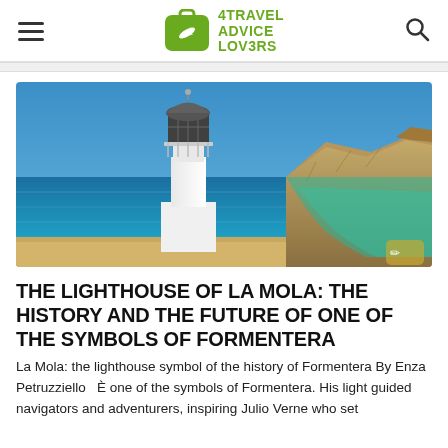4TRAVEL ADVICE LOVERS
[Figure (photo): Lighthouse of La Mola on a cliff overlooking turquoise sea and rocky coastline of Formentera under blue sky]
THE LIGHTHOUSE OF LA MOLA: THE HISTORY AND THE FUTURE OF ONE OF THE SYMBOLS OF FORMENTERA
La Mola: the lighthouse symbol of the history of Formentera By Enza Petruzziello   È one of the symbols of Formentera. His light guided navigators and adventurers, inspiring Julio Verne who set